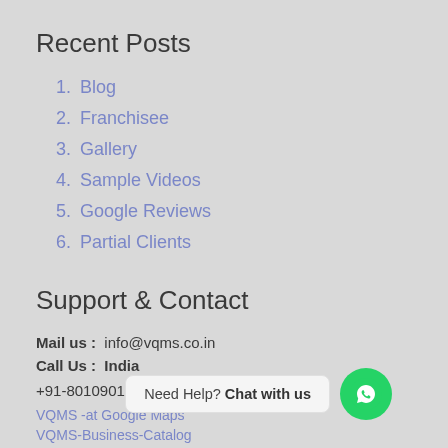Recent Posts
1. Blog
2. Franchisee
3. Gallery
4. Sample Videos
5. Google Reviews
6. Partial Clients
Support & Contact
Mail us:  info@vqms.co.in
Call Us:  India
+91-8010901504, +91-9999099384
VQMS -at Google Maps
VQMS-Business-Catalog
Need Help? Chat with us